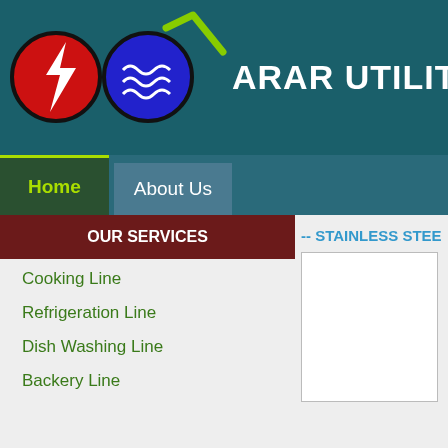ARAR UTILITY COM
[Figure (logo): Company logo with red circle containing lightning bolt and blue circle with water waves, with green checkmark]
ARAR UTILITY COM
Home
About Us
OUR SERVICES
Cooking Line
Refrigeration Line
Dish Washing Line
Backery Line
-- STAINLESS STEE